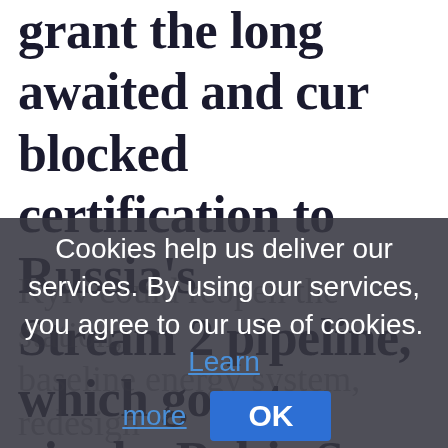grant the long awaited and cur blocked certification to Russia's Stream 2 pipeline, which goes to via the Baltic Sea and is capable
Cookies help us deliver our services. By using our services, you agree to our use of cookies. Learn more
OK